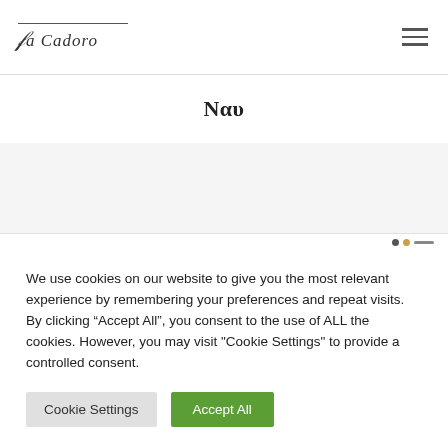Fa Cadoro
Ναυ
We use cookies on our website to give you the most relevant experience by remembering your preferences and repeat visits. By clicking "Accept All", you consent to the use of ALL the cookies. However, you may visit "Cookie Settings" to provide a controlled consent.
Cookie Settings | Accept All